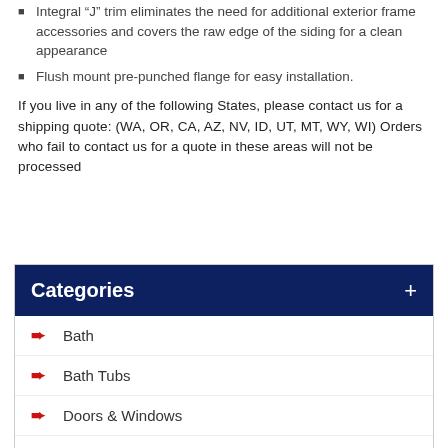Integral “J” trim eliminates the need for additional exterior frame accessories and covers the raw edge of the siding for a clean appearance
Flush mount pre-punched flange for easy installation.
If you live in any of the following States, please contact us for a shipping quote: (WA, OR, CA, AZ, NV, ID, UT, MT, WY, WI) Orders who fail to contact us for a quote in these areas will not be processed
Categories
Bath
Bath Tubs
Doors & Windows
Electrical